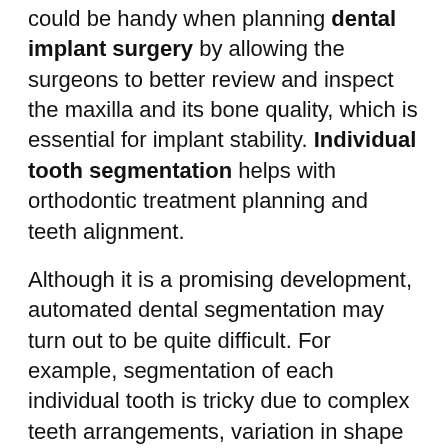could be handy when planning dental implant surgery by allowing the surgeons to better review and inspect the maxilla and its bone quality, which is essential for implant stability. Individual tooth segmentation helps with orthodontic treatment planning and teeth alignment.
Although it is a promising development, automated dental segmentation may turn out to be quite difficult. For example, segmentation of each individual tooth is tricky due to complex teeth arrangements, variation in shape and similarity to adjacent structures such as the tooth socket. The maxilla is also a difficult structure to segment, because of its complex thin bony components including the palate, maxillary sinuses and parts of the orbit walls. The challenge to the segmentation algorithm consists in finding the exact classification in abnormal teeth structures like overlapping teeth and abnormal morphologies.